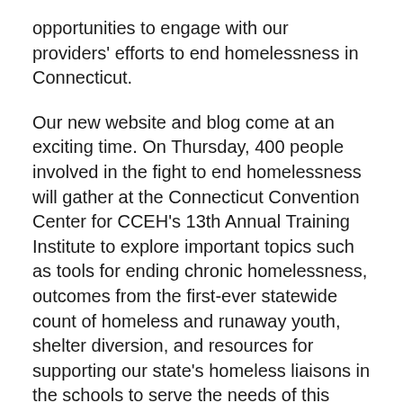opportunities to engage with our providers' efforts to end homelessness in Connecticut.
Our new website and blog come at an exciting time. On Thursday, 400 people involved in the fight to end homelessness will gather at the Connecticut Convention Center for CCEH's 13th Annual Training Institute to explore important topics such as tools for ending chronic homelessness, outcomes from the first-ever statewide count of homeless and runaway youth, shelter diversion, and resources for supporting our state's homeless liaisons in the schools to serve the needs of this most vulnerable population.
In addition, we are excited that we will very soon be announcing the results of the annual Point-in-Time Count, so please keep your eyes on this site for critical information offering a snapshot of Connecticut homelessness. Data is an increasingly important driver of our efforts to end